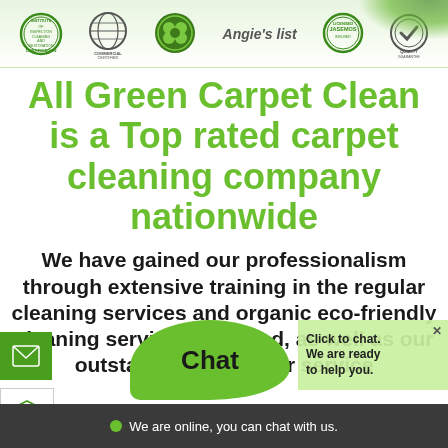[Figure (logo): Row of certification and partner logos: IICRC Institute Inspection Cleaning Restoration Certification, IICRC Commercial Certified, green clover/award badge, Angie's List text logo, JASEMOS licensed insured badge, Quality Guarantee badge]
All Green Carpet Clean is a Top rated carpet cleaning company nationwide
We have gained our professionalism through extensive training in the regular cleaning services and organic eco-friendly cleaning services provided, as well as our outstanding customer service